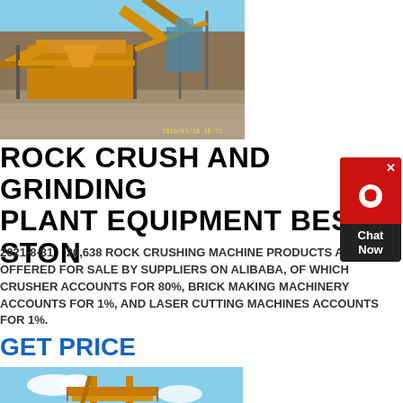[Figure (photo): Outdoor rock crushing plant with large orange conveyor and crushing machinery on gravel ground, blue sky background. Timestamp visible at bottom right.]
ROCK CRUSH AND GRINDING PLANT EQUIPMENT BEST STON
2021-8-31    26,638 ROCK CRUSHING MACHINE PRODUCTS ARE OFFERED FOR SALE BY SUPPLIERS ON ALIBABA, OF WHICH CRUSHER ACCOUNTS FOR 80%, BRICK MAKING MACHINERY ACCOUNTS FOR 1%, AND LASER CUTTING MACHINES ACCOUNTS FOR 1%.
GET PRICE
[Figure (photo): Yellow industrial crane or elevator structure at a stone crushing plant, blue sky with white clouds, aggregate material at base.]